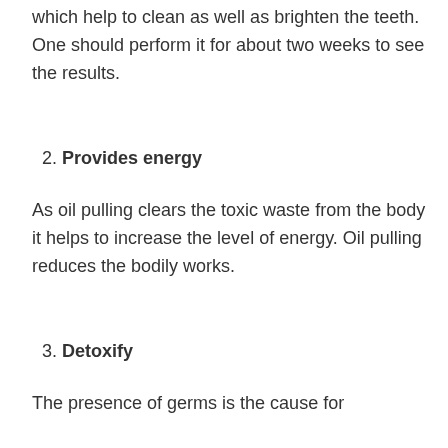which help to clean as well as brighten the teeth. One should perform it for about two weeks to see the results.
2. Provides energy
As oil pulling clears the toxic waste from the body it helps to increase the level of energy. Oil pulling reduces the bodily works.
3. Detoxify
The presence of germs is the cause for